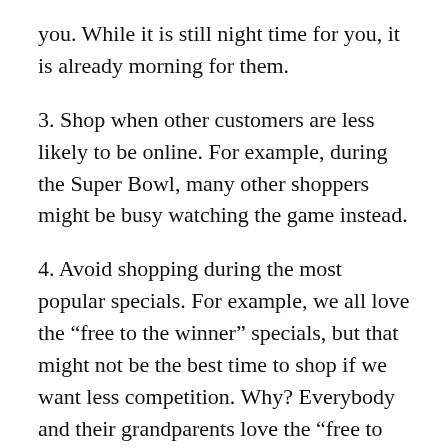you. While it is still night time for you, it is already morning for them.
3. Shop when other customers are less likely to be online. For example, during the Super Bowl, many other shoppers might be busy watching the game instead.
4. Avoid shopping during the most popular specials. For example, we all love the “free to the winner” specials, but that might not be the best time to shop if we want less competition. Why? Everybody and their grandparents love the “free to the winner” specials, so a lot more customers tend to get online. Winning an auction for free is great, but not necessarily if it